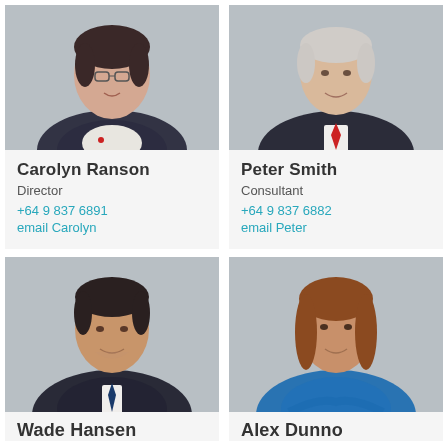[Figure (photo): Professional headshot of Carolyn Ranson, woman with glasses in dark blazer]
Carolyn Ranson
Director
+64 9 837 6891
email Carolyn
[Figure (photo): Professional headshot of Peter Smith, older man in dark suit with red tie]
Peter Smith
Consultant
+64 9 837 6882
email Peter
[Figure (photo): Professional headshot of Wade Hansen, man in dark suit with blue tie]
Wade Hansen
[Figure (photo): Professional headshot of Alex Dunno, woman with auburn hair in blue top]
Alex Dunno